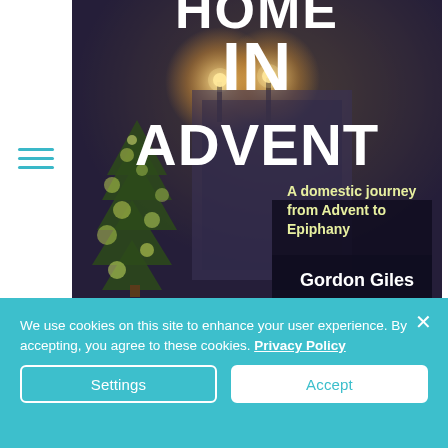[Figure (illustration): Book cover of 'Home in Advent' by Gordon Giles. Dark atmospheric background showing a Christmas tree with lights and indoor scene. Large white bold text reads 'HOME IN ADVENT'. Subtitle text reads 'A domestic journey from Advent to Epiphany'. Author name 'Gordon Giles' in white on dark background at bottom right.]
We use cookies on this site to enhance your user experience. By accepting, you agree to these cookies. Privacy Policy